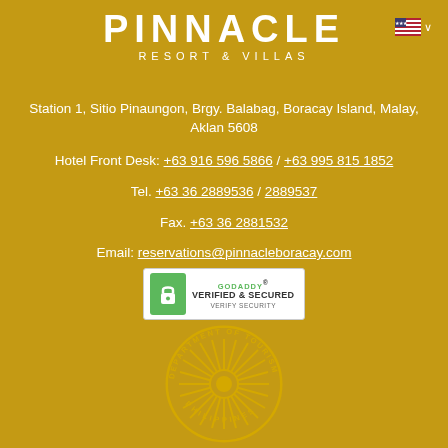PINNACLE
RESORT & VILLAS
[Figure (logo): US flag icon with dropdown arrow for language selection]
Station 1, Sitio Pinaungon, Brgy. Balabag, Boracay Island, Malay, Aklan 5608
Hotel Front Desk: +63 916 596 5866 / +63 995 815 1852
Tel. +63 36 2889536 / 2889537
Fax. +63 36 2881532
Email: reservations@pinnacleboracay.com
[Figure (logo): GoDaddy Verified & Secured badge with green lock icon]
[Figure (logo): Department of Tourism Philippines circular seal with sunburst design]